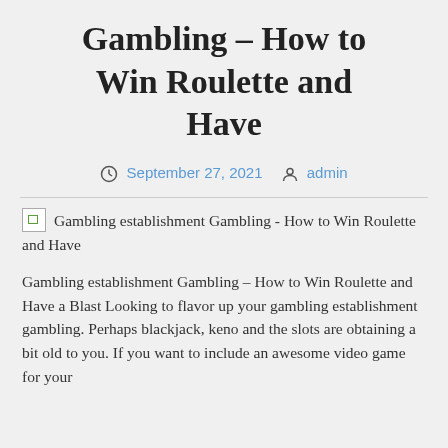Gambling – How to Win Roulette and Have
September 27, 2021   admin
Gambling establishment Gambling - How to Win Roulette and Have
Gambling establishment Gambling – How to Win Roulette and Have a Blast Looking to flavor up your gambling establishment gambling. Perhaps blackjack, keno and the slots are obtaining a bit old to you. If you want to include an awesome video game for your